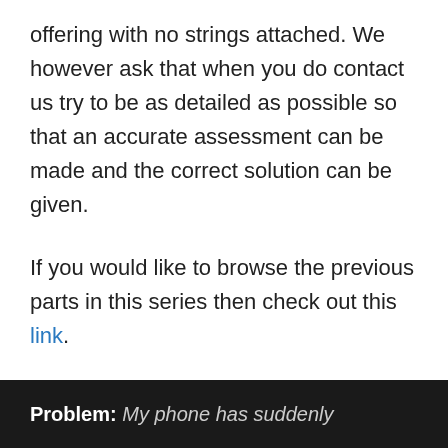offering with no strings attached. We however ask that when you do contact us try to be as detailed as possible so that an accurate assessment can be made and the correct solution can be given.
If you would like to browse the previous parts in this series then check out this link.
J7 Not Ringing For Incoming Calls
Problem: My phone has suddenly